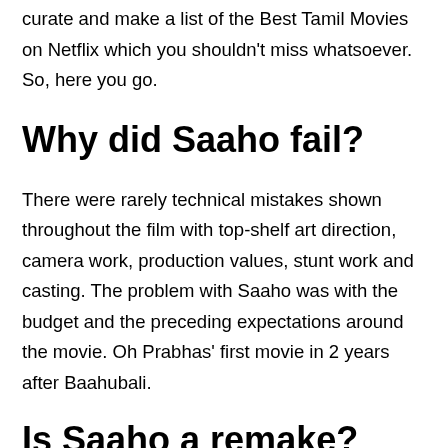curate and make a list of the Best Tamil Movies on Netflix which you shouldn't miss whatsoever. So, here you go.
Why did Saaho fail?
There were rarely technical mistakes shown throughout the film with top-shelf art direction, camera work, production values, stunt work and casting. The problem with Saaho was with the budget and the preceding expectations around the movie. Oh Prabhas' first movie in 2 years after Baahubali.
Is Saaho a remake?
Word has it that Saaho is a copy of Hollywood film Largo Winch. Earlier, Pawan Kalyan's Agnyaathavaasi was also accused of plagiarising the story of Largo Winch. Prabhas and Shraddha Kapoor's big-budget flick Saaho is setting the box office on fire despite getting underwhelming reviews from critics.